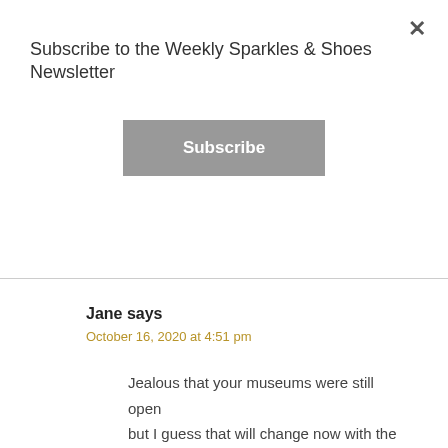Subscribe to the Weekly Sparkles & Shoes Newsletter
Subscribe
Jane says
October 16, 2020 at 4:51 pm
Jealous that your museums were still open but I guess that will change now with the new lockdowns.
Yes, I would love to visit it and kind of reminds me of an old fashioned Air and